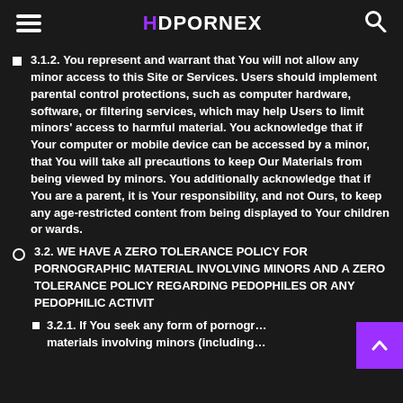HDPORNEX
3.1.2. You represent and warrant that You will not allow any minor access to this Site or Services. Users should implement parental control protections, such as computer hardware, software, or filtering services, which may help Users to limit minors' access to harmful material. You acknowledge that if Your computer or mobile device can be accessed by a minor, that You will take all precautions to keep Our Materials from being viewed by minors. You additionally acknowledge that if You are a parent, it is Your responsibility, and not Ours, to keep any age-restricted content from being displayed to Your children or wards.
3.2. WE HAVE A ZERO TOLERANCE POLICY FOR PORNOGRAPHIC MATERIAL INVOLVING MINORS AND A ZERO TOLERANCE POLICY REGARDING PEDOPHILES OR ANY PEDOPHILIC ACTIVIT…
3.2.1. If You seek any form of pornogr… materials involving minors (including…